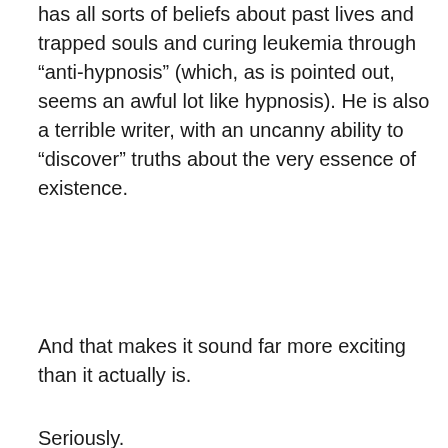has all sorts of beliefs about past lives and trapped souls and curing leukemia through “anti-hypnosis” (which, as is pointed out, seems an awful lot like hypnosis). He is also a terrible writer, with an uncanny ability to “discover” truths about the very essence of existence.
And that makes it sound far more exciting than it actually is.
Seriously.
Almost nothing of note happens in the entire film. No-one changes, no-one grows or learns anything. It’s the story of two troubled men who are just as troubled at the end as at the beginning, which is not surprising as nothing really happens to either of them. One is protected from the world by moonshine, the other by a fawning, downtrodden following. But perhaps that is the point. If so, I struggle to